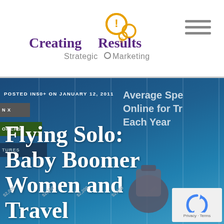[Figure (logo): Creating Results Strategic Marketing logo with orange circles and exclamation mark icon]
[Figure (illustration): Hamburger menu icon (three horizontal lines)]
POSTED IN 50+ ON JANUARY 12, 2011
Flying Solo: Baby Boomer Women and Travel
[Figure (infographic): Partial infographic showing 'Average Spending Online for Travel Each Year' with vertical grid lines and dollar axis labels: $2,000, $2,150, $2,200, $2,250, $2,300]
[Figure (illustration): reCAPTCHA widget with blue circular arrow logo and Privacy · Terms text]